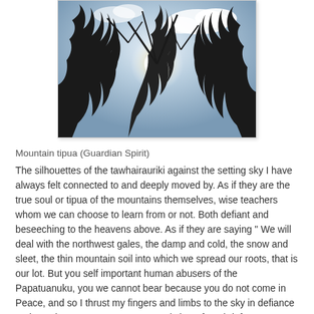[Figure (photo): Silhouettes of bare, twisted tawhairauriki tree branches against a bright blue sky with sunlight and clouds visible through the branches.]
Mountain tipua (Guardian Spirit)
The silhouettes of the tawhairauriki against the setting sky I have always felt connected to and deeply moved by. As if they are the true soul or tipua of the mountains themselves, wise teachers whom we can choose to learn from or not. Both defiant and beseeching to the heavens above. As if they are saying " We will deal with the northwest gales, the damp and cold, the snow and sleet, the thin mountain soil into which we spread our roots, that is our lot. But you self important human abusers of the Papatuanuku, you we cannot bear because you do not come in Peace, and so I thrust my fingers and limbs to the sky in defiance and warning you to stop. You are only here for a brief moment, and refuse to learn what the mountains Teach and you do